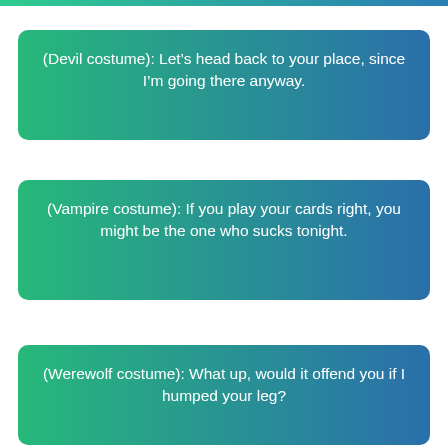(Devil costume): Let’s head back to your place, since I’m going there anyway.
(Vampire costume): If you play your cards right, you might be the one who sucks tonight.
(Werewolf costume): What up, would it offend you if I humped your leg?